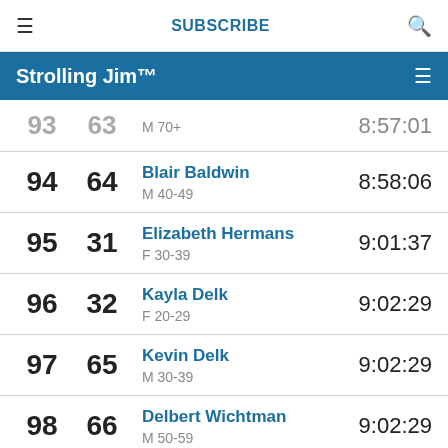≡   SUBSCRIBE   🔍
Strolling Jim™
| Overall | Age Group | Name / Category | Time |
| --- | --- | --- | --- |
| 93 | 63 | M 70+ | 8:57:01 |
| 94 | 64 | Blair Baldwin / M 40-49 | 8:58:06 |
| 95 | 31 | Elizabeth Hermans / F 30-39 | 9:01:37 |
| 96 | 32 | Kayla Delk / F 20-29 | 9:02:29 |
| 97 | 65 | Kevin Delk / M 30-39 | 9:02:29 |
| 98 | 66 | Delbert Wichtman / M 50-59 | 9:02:29 |
| 99 | 67 | David Martin / ... | 9:03:38 |